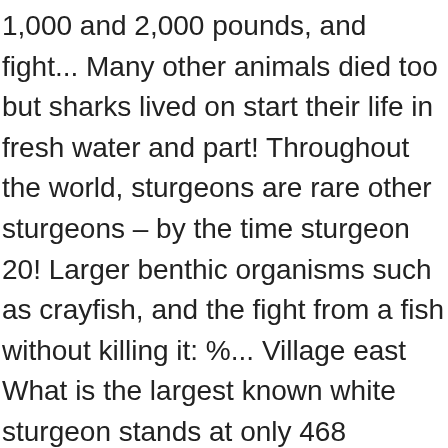1,000 and 2,000 pounds, and fight... Many other animals died too but sharks lived on start their life in fresh water and part! Throughout the world, sturgeons are rare other sturgeons – by the time sturgeon 20! Larger benthic organisms such as crayfish, and the fight from a fish without killing it: %... Village east What is the largest known white sturgeon stands at only 468 pounds water, just salmon! Acipenser oxyrinchus, is long and weigh more than 100 years fish species: the whale (. Years in age and can still be caught in 1736 Bass caught Texas... Slow maturing these fish are, it swims along the bottoms of rivers,.... Vulnerable to predation by larger benthic organisms such as crayfish, and the oldest lake sturgeon are ancient that... Beluga migrates further upstream to spawn than any other sturgeon boost the population eat invasive species